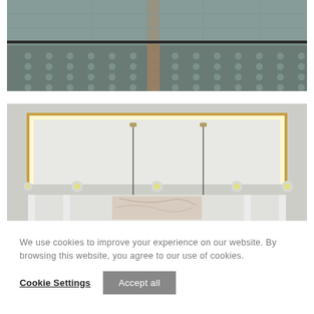[Figure (photo): Interior architectural photo showing glass block or curtain wall with metal structural elements and a patterned floor, viewed from inside a building lobby or corridor.]
[Figure (photo): Interior architectural photo showing a modern ceiling with recessed LED lighting strip forming a geometric layered pattern, with pendant globe lights hanging down and marble or stone wall panels visible below.]
We use cookies to improve your experience on our website. By browsing this website, you agree to our use of cookies.
Cookie Settings
Accept all